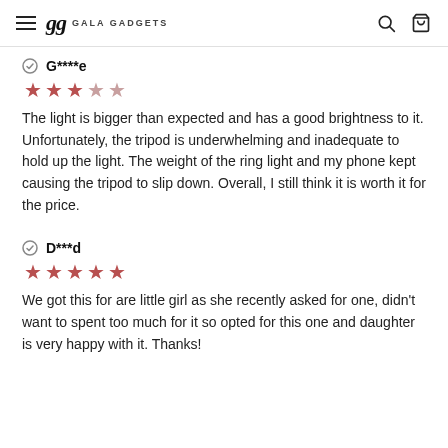gg GALA GADGETS
G****e
★★★☆☆
The light is bigger than expected and has a good brightness to it. Unfortunately, the tripod is underwhelming and inadequate to hold up the light. The weight of the ring light and my phone kept causing the tripod to slip down. Overall, I still think it is worth it for the price.
D***d
★★★★★
We got this for are little girl as she recently asked for one, didn't want to spent too much for it so opted for this one and daughter is very happy with it. Thanks!